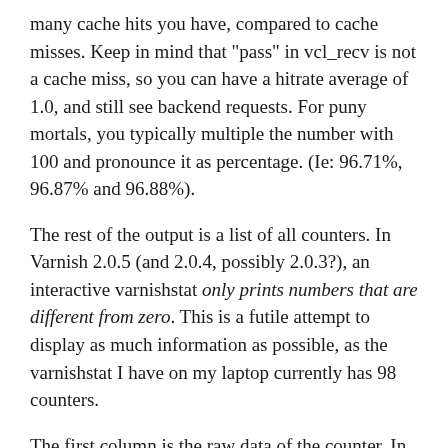many cache hits you have, compared to cache misses. Keep in mind that "pass" in vcl_recv is not a cache miss, so you can have a hitrate average of 1.0, and still see backend requests. For puny mortals, you typically multiple the number with 100 and pronounce it as percentage. (Ie: 96.71%, 96.87% and 96.88%).
The rest of the output is a list of all counters. In Varnish 2.0.5 (and 2.0.4, possibly 2.0.3?), an interactive varnishstat only prints numbers that are different from zero. This is a futile attempt to display as much information as possible, as the varnishstat I have on my laptop currently has 98 counters.
The first column is the raw data of the counter. In case of cache hits, for instance, this is the total number of cache hits since Varnish was started.
The second column is the change per second in realtime